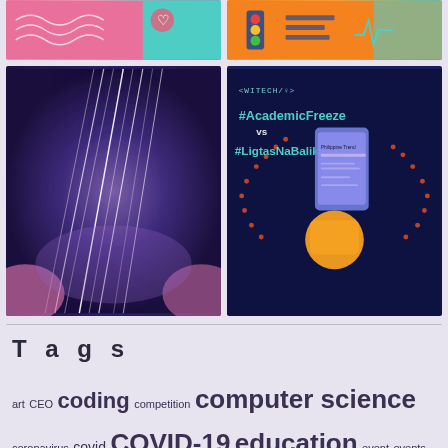[Figure (illustration): Top-left image: pink and teal abstract illustration with wavy patterns]
[Figure (illustration): Top-right image: orange and teal tech/medical dashboard illustration]
[Figure (illustration): Bottom-left image: dark purple abstract with glowing piano key streaks]
[Figure (illustration): Bottom-right image: WiTech/Q dark navy poster showing #AcademicFreeze vs #LigtasNaBalikEskwela with hand holding phone]
Tags
art CEO coding competition computer science coronavirus covid COVID-19 education event events interview online opportunities organization